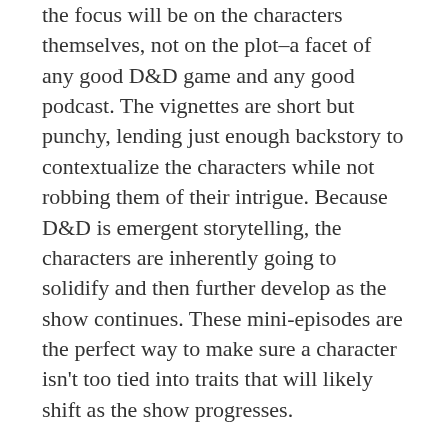the focus will be on the characters themselves, not on the plot–a facet of any good D&D game and any good podcast. The vignettes are short but punchy, lending just enough backstory to contextualize the characters while not robbing them of their intrigue. Because D&D is emergent storytelling, the characters are inherently going to solidify and then further develop as the show continues. These mini-episodes are the perfect way to make sure a character isn't too tied into traits that will likely shift as the show progresses.
Another way Join the Party sets itself on a higher level than most D&D media is its production. Every single part of how the show is produced makes it more immersive. The players and Dungeon Master all do sit around a table together to record and play,